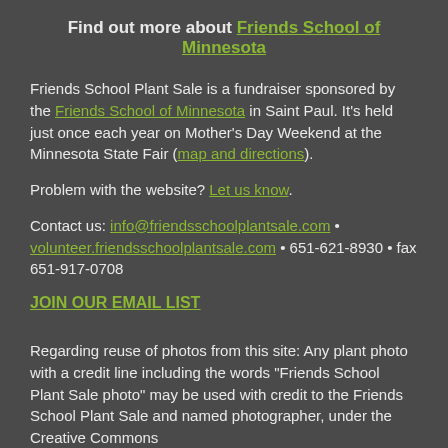Find out more about Friends School of Minnesota
Friends School Plant Sale is a fundraiser sponsored by the Friends School of Minnesota in Saint Paul. It's held just once each year on Mother's Day Weekend at the Minnesota State Fair (map and directions).
Problem with the website? Let us know.
Contact us: info@friendsschoolplantsale.com • volunteer.friendsschoolplantsale.com • 651-621-8930 • fax 651-917-0708
JOIN OUR EMAIL LIST
Regarding reuse of photos from this site: Any plant photo with a credit line including the words “Friends School Plant Sale photo” may be used with credit to the Friends School Plant Sale and named photographer, under the Creative Commons